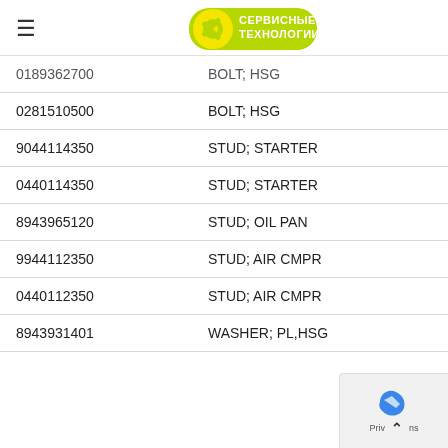Сервисные Технологии
| Part Number | Description |
| --- | --- |
| 0189362700 | BOLT; HSG |
| 0281510500 | BOLT; HSG |
| 9044114350 | STUD; STARTER |
| 0440114350 | STUD; STARTER |
| 8943965120 | STUD; OIL PAN |
| 9944112350 | STUD; AIR CMPR |
| 0440112350 | STUD; AIR CMPR |
| 8943931401 | WASHER; PL,HSG |